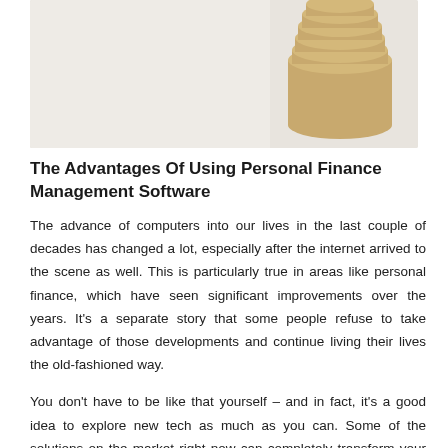[Figure (photo): Partial photo showing stacked coins (gold/bronze colored) on a white/light background, cropped at the top of the page.]
The Advantages Of Using Personal Finance Management Software
The advance of computers into our lives in the last couple of decades has changed a lot, especially after the internet arrived to the scene as well. This is particularly true in areas like personal finance, which have seen significant improvements over the years. It's a separate story that some people refuse to take advantage of those developments and continue living their lives the old-fashioned way.
You don't have to be like that yourself – and in fact, it's a good idea to explore new tech as much as you can. Some of the solutions on the market right now can completely transform your life, and there are many objective advantages to using modern personal finance software.